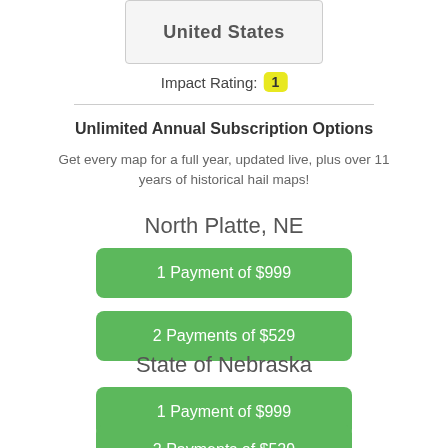[Figure (map): Partial map image showing United States label with dashed border overlay]
Impact Rating: 1
Unlimited Annual Subscription Options
Get every map for a full year, updated live, plus over 11 years of historical hail maps!
North Platte, NE
1 Payment of $999
2 Payments of $529
State of Nebraska
1 Payment of $999
2 Payments of $529